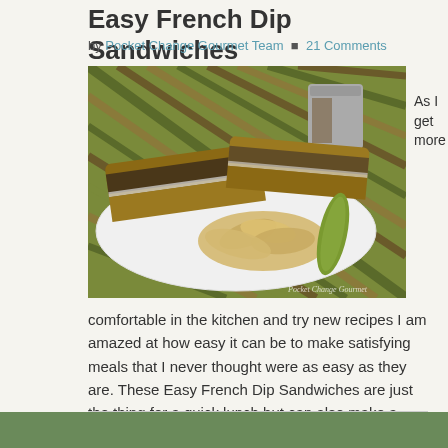Easy French Dip Sandwiches
by Pocket Change Gourmet Team  21 Comments
[Figure (photo): Photo of French Dip Sandwiches on a white plate with ruffled potato chips and a pickle, with a cup of dipping sauce, set on a striped tablecloth. Watermark reads 'Pocket Change Gourmet'.]
As I get more
comfortable in the kitchen and try new recipes I am amazed at how easy it can be to make satisfying meals that I never thought were as easy as they are. These Easy French Dip Sandwiches are just the thing for a quick lunch but can also make a satisfying dinner. With [...]